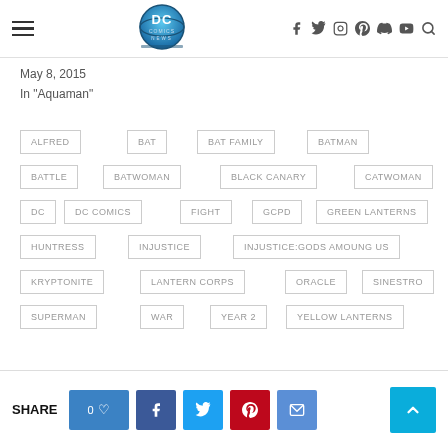DC Comics News header with logo and navigation icons
May 8, 2015
In "Aquaman"
ALFRED
BAT
BAT FAMILY
BATMAN
BATTLE
BATWOMAN
BLACK CANARY
CATWOMAN
DC
DC COMICS
FIGHT
GCPD
GREEN LANTERNS
HUNTRESS
INJUSTICE
INJUSTICE:GODS AMOUNG US
KRYPTONITE
LANTERN CORPS
ORACLE
SINESTRO
SUPERMAN
WAR
YEAR 2
YELLOW LANTERNS
SHARE 0♡ f t p email ^